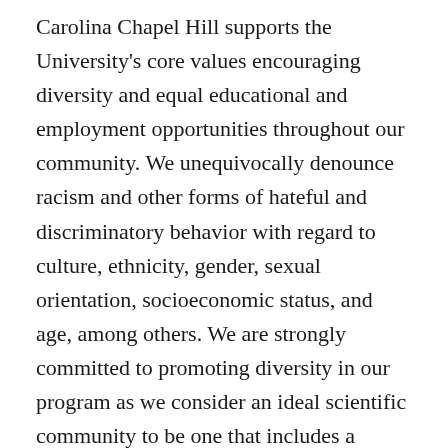Carolina Chapel Hill supports the University's core values encouraging diversity and equal educational and employment opportunities throughout our community. We unequivocally denounce racism and other forms of hateful and discriminatory behavior with regard to culture, ethnicity, gender, sexual orientation, socioeconomic status, and age, among others. We are strongly committed to promoting diversity in our program as we consider an ideal scientific community to be one that includes a diverse representation of individuals at all academic levels. We are especially committed to training early career scientists of diverse backgrounds, and we encourage students from backgrounds historically underrepresented in the sciences to apply, including but not limited to BIPOC, LGBTQIA+, first generation college students, and those of low socioeconomic status. Our views reflect University policy as